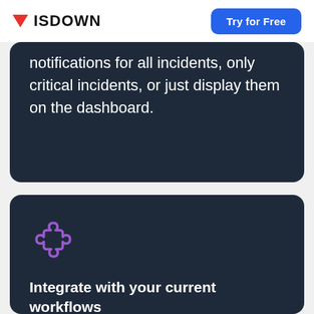ISDOWN | Try for Free
notifications for all incidents, only critical incidents, or just display them on the dashboard.
[Figure (illustration): Purple puzzle/meeple piece icon representing integrations]
Integrate with your current workflows
Using Zapier or Webhooks, you can easily integrate notifications into